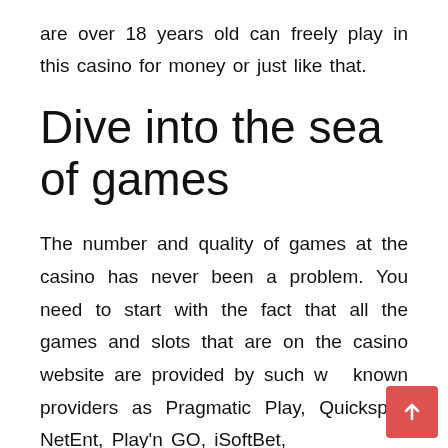are over 18 years old can freely play in this casino for money or just like that.
Dive into the sea of games
The number and quality of games at the casino has never been a problem. You need to start with the fact that all the games and slots that are on the casino website are provided by such well-known providers as Pragmatic Play, Quickspin, NetEnt, Play'n GO, iSoftBet,